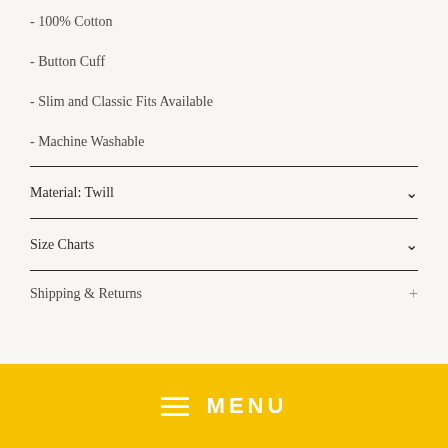- 100% Cotton
- Button Cuff
- Slim and Classic Fits Available
- Machine Washable
Material: Twill
Size Charts
Shipping & Returns